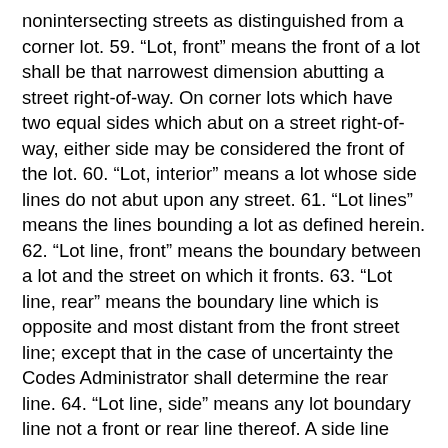nonintersecting streets as distinguished from a corner lot. 59. “Lot, front” means the front of a lot shall be that narrowest dimension abutting a street right-of-way. On corner lots which have two equal sides which abut on a street right-of-way, either side may be considered the front of the lot. 60. “Lot, interior” means a lot whose side lines do not abut upon any street. 61. “Lot lines” means the lines bounding a lot as defined herein. 62. “Lot line, front” means the boundary between a lot and the street on which it fronts. 63. “Lot line, rear” means the boundary line which is opposite and most distant from the front street line; except that in the case of uncertainty the Codes Administrator shall determine the rear line. 64. “Lot line, side” means any lot boundary line not a front or rear line thereof. A side line may be a party lot line, a line bordering on an alley or place, or a side street line. 65. “Lot of record” means a lot which is a part of a subdivision, the plat of which has been recorded in the office of the register of deeds or a lot